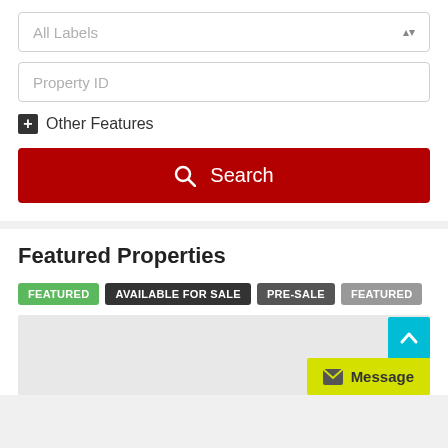All Labels
Property ID
Other Features
Search
Featured Properties
FEATURED
AVAILABLE FOR SALE
PRE-SALE
FEATURED
Message